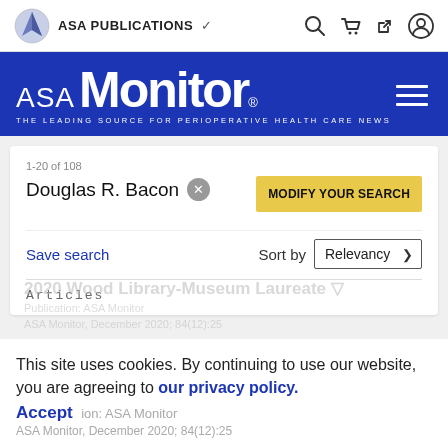ASA PUBLICATIONS
[Figure (logo): ASA Monitor logo with blue banner — THE LEADING SOURCE FOR PERIOPERATIVE HEALTH CARE NEWS]
1-20 of 108
Douglas R. Bacon ×
MODIFY YOUR SEARCH
Save search
Sort by Relevancy
Articles
2020 Wood Library-Museum Laureate
This site uses cookies. By continuing to use our website, you are agreeing to our privacy policy. Accept